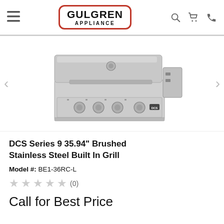Gulgren Appliance – navigation bar with logo, search, cart, phone icons
[Figure (photo): DCS Series 9 built-in stainless steel grill, front and top view showing control knobs and lid, with left and right navigation arrows]
DCS Series 9 35.94" Brushed Stainless Steel Built In Grill
Model #: BE1-36RC-L
★★★★★ (0)
Call for Best Price